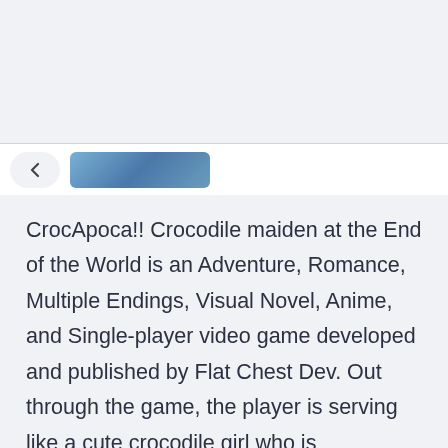[Figure (screenshot): Browser UI top bar with back chevron button and a tab thumbnail showing a blue image]
CrocApoca!! Crocodile maiden at the End of the World is an Adventure, Romance, Multiple Endings, Visual Novel, Anime, and Single-player video game developed and published by Flat Chest Dev. Out through the game, the player is serving like a cute crocodile girl who is encountering different pre-Apocalyptic events from the last week. The player's choices actually shape the future of humanity, so be wise with the decisions and don't make any mistakes,